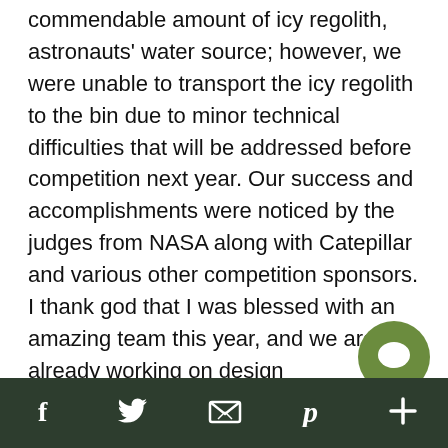commendable amount of icy regolith, astronauts' water source; however, we were unable to transport the icy regolith to the bin due to minor technical difficulties that will be addressed before competition next year. Our success and accomplishments were noticed by the judges from NASA along with Catepillar and various other competition sponsors. I thank god that I was blessed with an amazing team this year, and we are already working on design improvements for next year. All our team members intellect, unwavering perseverance, and methodical time and stress management techniques fall nothing short of amazing. Each member is an outstanding Oredigger and will be very successful engineers.
Social share bar with Facebook, Twitter, email, Pinterest, and more icons